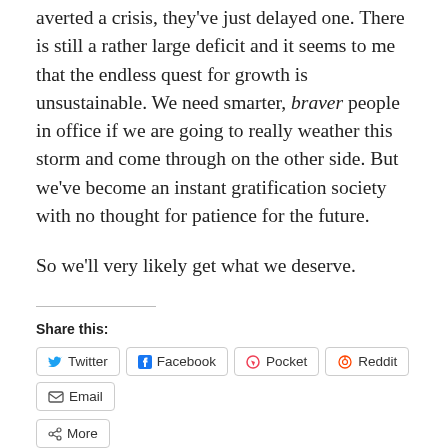averted a crisis, they've just delayed one. There is still a rather large deficit and it seems to me that the endless quest for growth is unsustainable. We need smarter, braver people in office if we are going to really weather this storm and come through on the other side. But we've become an instant gratification society with no thought for patience for the future.
So we'll very likely get what we deserve.
Share this:
Like this:
Loading...